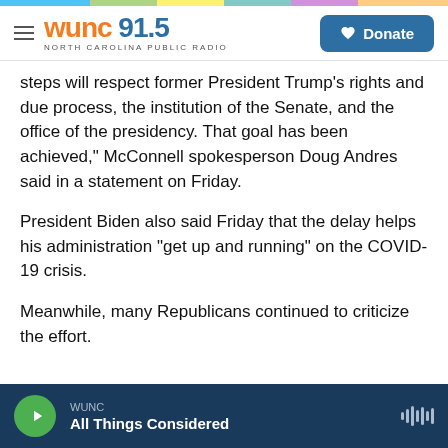WUNC 91.5 NORTH CAROLINA PUBLIC RADIO
steps will respect former President Trump's rights and due process, the institution of the Senate, and the office of the presidency. That goal has been achieved," McConnell spokesperson Doug Andres said in a statement on Friday.
President Biden also said Friday that the delay helps his administration "get up and running" on the COVID-19 crisis.
Meanwhile, many Republicans continued to criticize the effort.
WUNC — All Things Considered